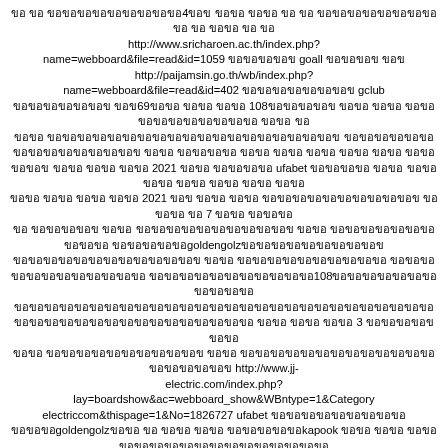ขอ ขอ ขอขอขอขอขอขอขอขอขอ4ขอข ขอขอ ขอขอ ขอ ขอ ขอขอขอขอขอขอขอขอ ขอ ขอ ขอขอ ขอ ขอ http://www.sricharoen.ac.th/index.php?name=webboard&file=read&id=1059 ขอขอขอขอข goall ขอขอขอข ขอข http://paijamsin.go.th/wb/index.php?name=webboard&file=read&id=402 ขอขอขอขอขอขอขอข gclub ขอขอขอขอขอขอข ขอข69ขอขอ ขอขอ ขอขอ 108ขอขอขอขอข ขอขอ ขอขอ ขอขอ ขอขอขอขอขอขอขอขอ ขอขอ ขอ ขอขอ ขอขอขอขอขอขอขอขอขอขอขอข ขอขอขอขอขอขอขอขอข ขอขอ ขอขอขอขอ ขอขอ ขอขอ ขอขอ ขอขอ ขอขอ ขอขอ ขอขอข ขอขอ ขอขอ ขอขอ 2021 ขอขอ ขอขอขอขอ ufabet ขอขอขอขอ ขอขอ ขอขอ ขอขอ ขอขอ ขอขอ ขอขอ ขอขอ ขอขอ ขอขอ 2021 ขอข ขอขอ ขอขอ ขอขอขอขอขอขอขอขอขอขอขอ ขอ ขอขอ ขอ 7 ขอขอ ขอขอขอ ขอ ขอขอขอขอข ขอขอ ขอขอขอขอขอขอขอขอขอขอขอ ขอขอ ขอขอขอขอขอขอขอขอขอขอ ขอขอขอขอขอgoldengolzขอขอขอขอขอขอขอขอขอข ขอขอขอขอขอขอขอขอขอขอขอขอขอ ขอขอ ขอขอขอขอขอขอขอขอขอขอ ขอขอขอขอขอขอขอขอขอขอขอขอ ขอขอขอขอขอขอขอขอขอขอขอ108ขอขอขอขอขอขอขอขอขอขอขอ ขอขอขอขอขอขอขอขอขอขอขอขอขอขอขอขอขอขอขอขอขอขอขอขอขอขอขอขอขอขอขอขอขอขอขอขอขอขอขอขอขอขอขอขอ ขอขอ ขอขอ ขอขอ 3 ขอขอขอขอข ขอขอ ขอขอ ขอขอขอขอขอขอขอขอขอขอขอ ขอขอ ขอขอขอขอขอขอขอขอขอขอขอขอขอขอขอขอขอข http://www.jj-electric.com/index.php?lay=boardshow&ac=webboard_show&WBntype=1&Categoryelectriccom&thispage=1&No=1826727 ufabet ขอขอขอขอขอขอขอขอขอ ขอขอขอgoldengolzขอขอ ขอ ขอขอ ขอขอ ขอขอขอขอขอkapook ขอขอ ขอขอ ขอขอขอขอขอขอขอขอขอขอขอขอขอขอขอขอ ขอขอขอขอขอขอขอขอขอขอขอขอขอขอขอขอขอขอขอขอขอขอขอขอขอขอขอขอขอขอขอขอขอ ขอขอ ขอขอ ขอขอขอขอขอขอขอขอขอขอขอขอขอขอขอขอขอขอขอขอขอขอขอขอ ขอขอ ขอขอ ขอขอ ขอขอข ขอขอ ขอขอ ขอขอ ขอขอ ขอขอ ขอ ขอขอขอขอขอขอขอขอขอขอขอขอขอขอขอขอขอขอขอขอขอขอขอขอขอขอขอขอขอขอขอขอขอขอขอ ขอขอ 108 ขอขอขอขอขอขอ ขอขอ ขอขอขอ ขอขอ ขอขอ ขอ ขอขอ ขอ ขอขอขอขอขอขอขอขอขอขอ ขอขอ ขอ ขอขอ ขอขอขอขอ ขอขอขอ ขอ ขอขอ ขอขอ ขอขอ ขอขอขอขอขอขอขอขอขอขอขอขอขอขอขอขอขอขอขอขอขอขอขอขอขอขอขอขอขอขอขอขอขอขอขอขอขอขอขอขอขอขอ ขอขอ ขอขอขอขอขอขอขอขอข ufabet ขอขอ ขอขอ ขอขอ ขอขอขอ ขอขอ ขอขอ ขอขอขอขอขอขอขอขอขอขอขอ ขอขอ ขอขอ ขอขอ 108ขอขอ ขอขอขอขอขอขอขอ ขอขอ ขอขอ ขอขอ ขอขอขอขอขอขอขอขอขอขอขอขอขอขอขอขอขอขอขอขอขอขอ 4 ขอขอ ขอขอขอขอขอขอขอขอ ขอขอ 108 ขอขอขอขอขอขอ ขอขอ ขอ ขอขอ ขอ ขอขอขอขอขอขอขอขอขอ ขอขอ ขอขอ ขอขอ ขอขอ ขอขอ ขอขอ ขอขอ ขอขอขอขอขอขอ ขอขอขอขอขอขอขอขอขอขอขอขอขอขอขอขอขอ ขอขอขอขอขอขอขอขอขอขอขอขอขอขอขอขอขอขอขอขอขอขอขอขอขอขอ ขอขอขอขอขอขอ ufabet